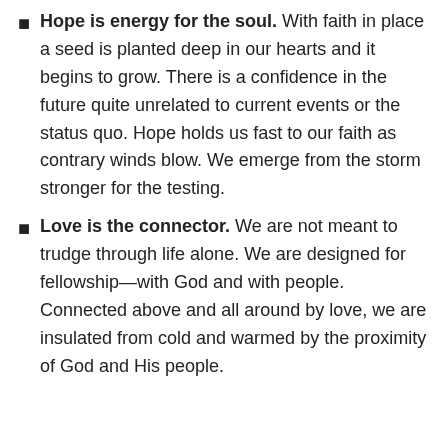Hope is energy for the soul. With faith in place a seed is planted deep in our hearts and it begins to grow. There is a confidence in the future quite unrelated to current events or the status quo. Hope holds us fast to our faith as contrary winds blow. We emerge from the storm stronger for the testing.
Love is the connector. We are not meant to trudge through life alone. We are designed for fellowship—with God and with people. Connected above and all around by love, we are insulated from cold and warmed by the proximity of God and His people.